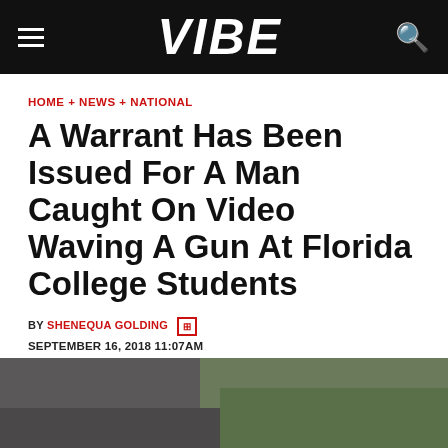VIBE
HOME + NEWS + NATIONAL
A Warrant Has Been Issued For A Man Caught On Video Waving A Gun At Florida College Students
BY SHENEQUA GOLDING  SEPTEMBER 16, 2018 11:07AM
[Figure (photo): Outdoor photo showing pavement and green grass at the bottom of the image]